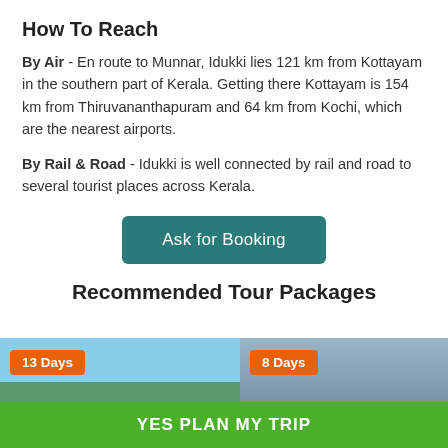How To Reach
By Air - En route to Munnar, Idukki lies 121 km from Kottayam in the southern part of Kerala. Getting there Kottayam is 154 km from Thiruvananthapuram and 64 km from Kochi, which are the nearest airports.
By Rail & Road - Idukki is well connected by rail and road to several tourist places across Kerala.
Ask for Booking
Recommended Tour Packages
[Figure (photo): Houseboat on Kerala backwaters with 13 Days badge]
[Figure (photo): Tour package image with 8 Days badge and grey background]
YES PLAN MY TRIP